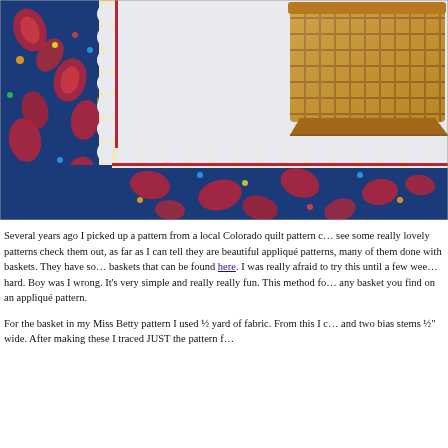[Figure (photo): Close-up photo of a quilt corner featuring dark blue fabric with red and multicolor paisley print, cream/tan scalloped border edging, red accent stripe, and a woven basket in the upper right corner on a light blue/white background.]
Several years ago I picked up a pattern from a local Colorado quilt pattern c… see some really lovely patterns check them out, as far as I can tell they are beautiful appliqué patterns, many of them done with baskets. They have so… baskets that can be found here. I was really afraid to try this until a few wee… hard. Boy was I wrong. It's very simple and really really fun. This method fo… any basket you find on an appliqué pattern.
For the basket in my Miss Betty pattern I used ½ yard of fabric. From this I c… and two bias stems ½" wide. After making these I traced JUST the pattern f…